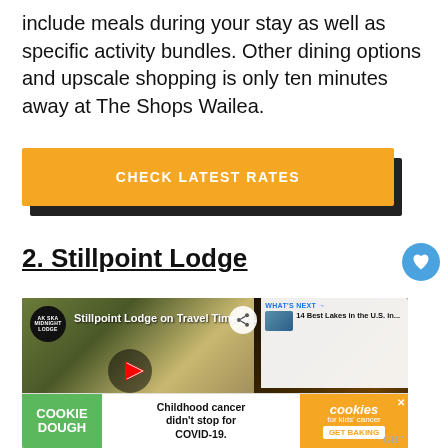include meals during your stay as well as specific activity bundles. Other dining options and upscale shopping is only ten minutes away at The Shops Wailea.
[Figure (other): Orange button with text CHECK LATEST RATES on dark shadow background]
2. Stillpoint Lodge
[Figure (screenshot): YouTube video thumbnail showing Stillpoint Lodge on Travel Time w... with Alaska Midnight Lodge logo, two women sitting, fireplace, What's Next panel showing 14 Best Lakes in the U.S. in..., share button, and ad banner for Cookie Dough / Childhood cancer didn't stop for COVID-19 / cookies for kids cancer GET BAKING]